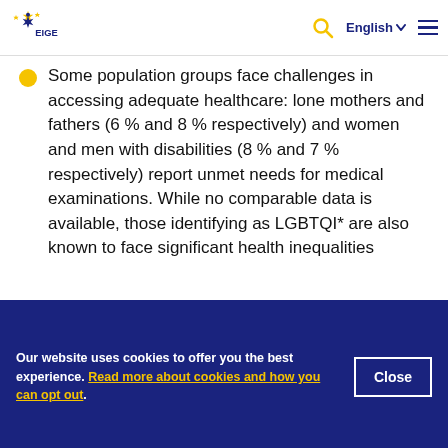EIGE — European Institute for Gender Equality — navigation bar with logo, search, English language selector, and hamburger menu
Some population groups face challenges in accessing adequate healthcare: lone mothers and fathers (6 % and 8 % respectively) and women and men with disabilities (8 % and 7 % respectively) report unmet needs for medical examinations. While no comparable data is available, those identifying as LGBTQI* are also known to face significant health inequalities
Our website uses cookies to offer you the best experience. Read more about cookies and how you can opt out.